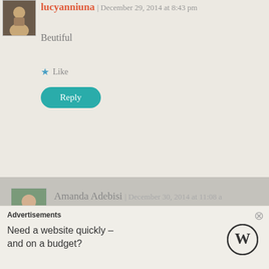lucyanniuna | December 29, 2014 at 8:43 pm
Beutiful
Like
Reply
Amanda Adebisi | December 30, 2014 at 11:08 a
Thanks Lucy 🙂
Like
Reply
Advertisements
Need a website quickly – and on a budget?